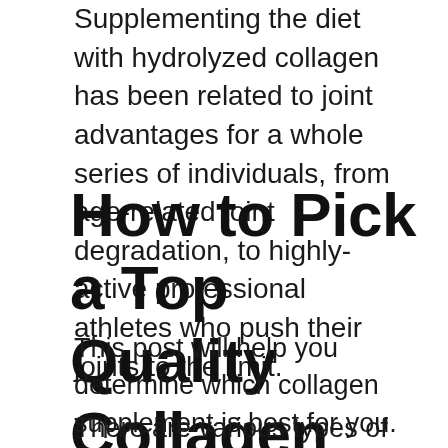Supplementing the diet with hydrolyzed collagen has been related to joint advantages for a whole series of individuals, from age-related joint degradation, to highly-active professional athletes who push their joints to the limit.
How to Pick a Top Quality Collagen Supplement
This post will help you determine which collagen supplement is best for you.
There are various types of collagen supplements on the market today. With